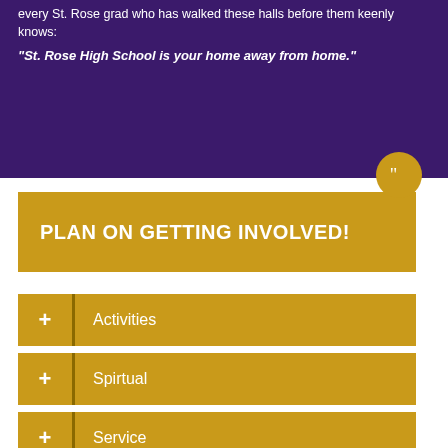every St. Rose grad who has walked these halls before them keenly knows:
"St. Rose High School is your home away from home."
PLAN ON GETTING INVOLVED!
+ Activities
+ Spirtual
+ Service